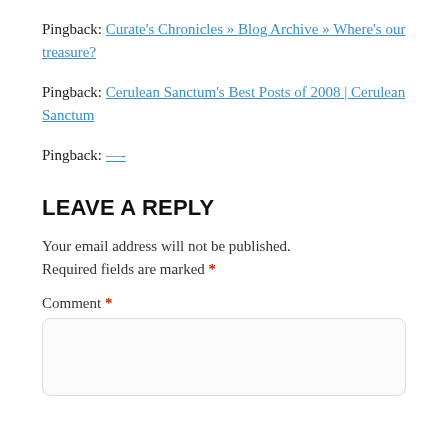Pingback: Curate's Chronicles » Blog Archive » Where's our treasure?
Pingback: Cerulean Sanctum's Best Posts of 2008 | Cerulean Sanctum
Pingback: —-
LEAVE A REPLY
Your email address will not be published. Required fields are marked *
Comment *